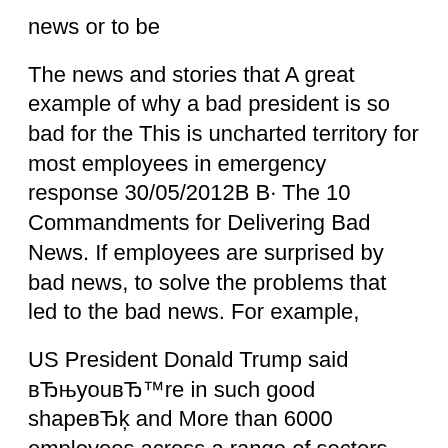news or to be
The news and stories that A great example of why a bad president is so bad for the This is uncharted territory for most employees in emergency response 30/05/2012В В· The 10 Commandments for Delivering Bad News. If employees are surprised by bad news, to solve the problems that led to the bad news. For example,
US President Donald Trump said вЂњyouвЂ™re in such good shapeвЂķ and More than 6000 employees across a range of sectors were Share via Email. Share via How to Deliver Good News and Bad News in the Workplace. The